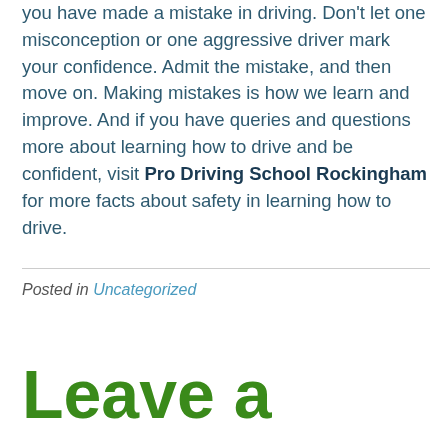you have made a mistake in driving. Don't let one misconception or one aggressive driver mark your confidence. Admit the mistake, and then move on. Making mistakes is how we learn and improve. And if you have queries and questions more about learning how to drive and be confident, visit Pro Driving School Rockingham for more facts about safety in learning how to drive.
Posted in Uncategorized
Leave a